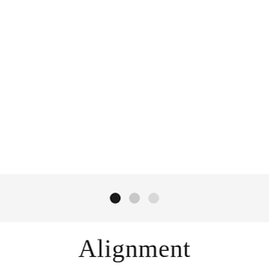[Figure (infographic): Three pagination dots: one filled black circle on the left, one light gray circle in the middle, one lighter gray circle on the right, displayed on a light gray horizontal band]
Alignment